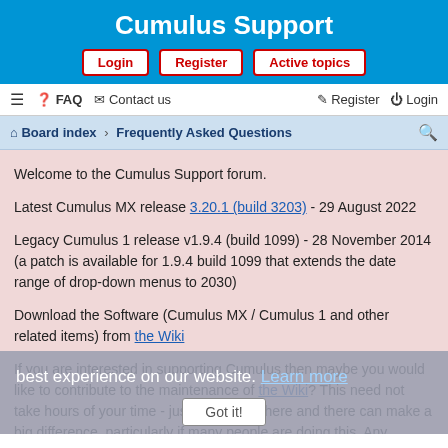Cumulus Support
Login | Register | Active topics
☰  FAQ  Contact us    Register  Login
Board index › Frequently Asked Questions
Welcome to the Cumulus Support forum.
Latest Cumulus MX release 3.20.1 (build 3203) - 29 August 2022
Legacy Cumulus 1 release v1.9.4 (build 1099) - 28 November 2014 (a patch is available for 1.9.4 build 1099 that extends the date range of drop-down menus to 2030)
Download the Software (Cumulus MX / Cumulus 1 and other related items) from the Wiki
If you are interested in supporting Cumulus then maybe you would like to contribute to the maintenance of the Wiki? This need not take hours of your time - just a half hour here and there can make a big difference, particularly if many people are doing this. Any contributions are very welcome, whether they involve new content or editing of existing content. It will be very helpful to